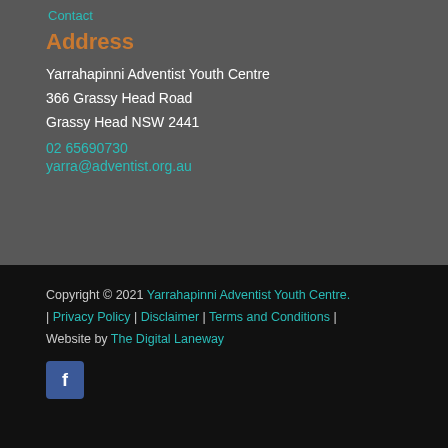Contact
Address
Yarrahapinni Adventist Youth Centre
366 Grassy Head Road
Grassy Head NSW 2441
02 65690730
yarra@adventist.org.au
Copyright © 2021 Yarrahapinni Adventist Youth Centre. | Privacy Policy | Disclaimer | Terms and Conditions | Website by The Digital Laneway
[Figure (logo): Facebook icon button, blue square with white 'f' letter]